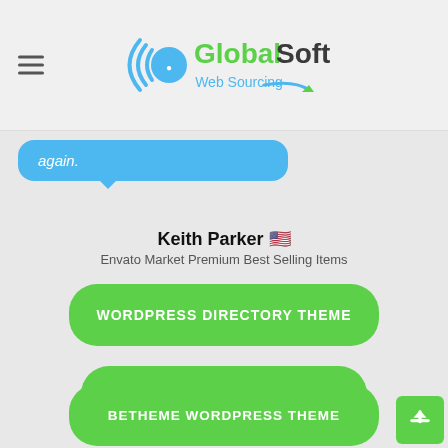GlobalSoft Web Sourcing
again.
Keith Parker 🇺🇸
Envato Market Premium Best Selling Items
WORDPRESS DIRECTORY THEME
AVADA WORDPRESS THEME
BETHEME WORDPRESS THEME